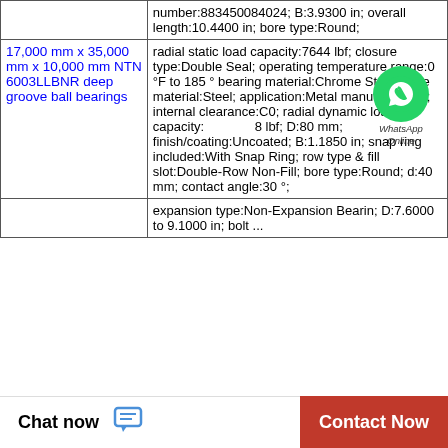| Product | Specifications |
| --- | --- |
|  | number:883450084024; B:3.9300 in; overall length:10.4400 in; bore type:Round; |
| 17,000 mm x 35,000 mm x 10,000 mm NTN 6003LLBNR deep groove ball bearings | radial static load capacity:7644 lbf; closure type:Double Seal; operating temperature range:0 °F to 185 ° bearing material:Chrome Steel; cage material:Steel; application:Metal manufacturing,; internal clearance:C0; radial dynamic load capacity:8 lbf; D:80 mm; finish/coating:Uncoated; B:1.1850 in; snap ring included:With Snap Ring; row type & fill slot:Double-Row Non-Fill; bore type:Round; d:40 mm; contact angle:30 °; |
|  | expansion type:Non-Expansion Bearin; D:7.6000 to 9.1000 in; bolt ... |
Chat now
Contact Now